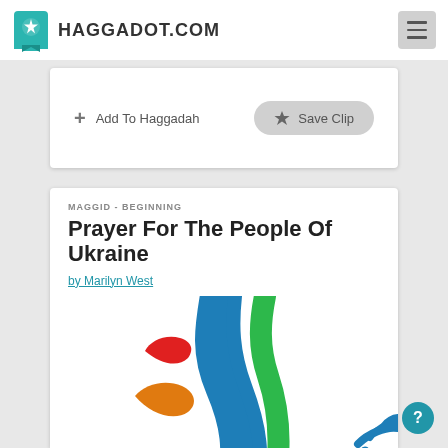HAGGADOT.COM
+ Add To Haggadah
Save Clip
MAGGID - BEGINNING
Prayer For The People Of Ukraine
by Marilyn West
[Figure (illustration): Colorful artistic illustration featuring flowing brush strokes in blue, green, red, orange, and black, resembling a dove or bird in motion with olive branch-like elements.]